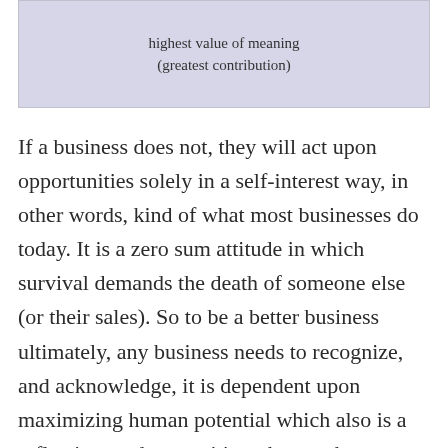[Figure (photo): Handwritten note on pale purple/gray paper reading: 'highest value of meaning (greatest contribution)']
If a business does not, they will act upon opportunities solely in a self-interest way, in other words, kind of what most businesses do today. It is a zero sum attitude in which survival demands the death of someone else (or their sales). So to be a better business ultimately, any business needs to recognize, and acknowledge, it is dependent upon maximizing human potential which also is a reflection, and recognition, that work,